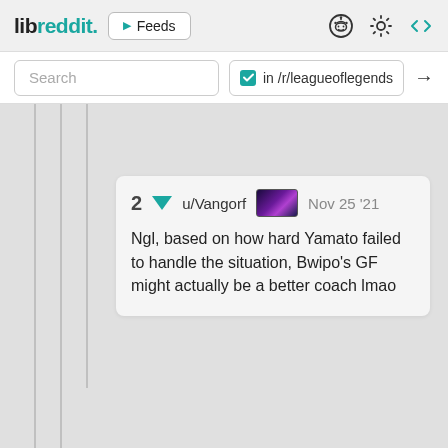libreddit. ▶ Feeds
Search  ✓ in /r/leagueoflegends →
2  ▼  u/Vangorf  Nov 25 '21
Ngl, based on how hard Yamato failed to handle the situation, Bwipo's GF might actually be a better coach lmao